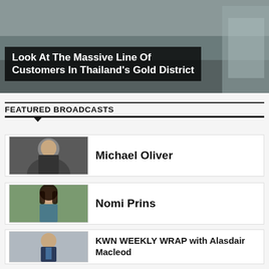[Figure (photo): Hero image of customers in Thailand's Gold District with dark overlay]
Look At The Massive Line Of Customers In Thailand's Gold District
FEATURED BROADCASTS
[Figure (photo): Headshot of Michael Oliver, older man in dark jacket]
Michael Oliver
[Figure (photo): Headshot of Nomi Prins, woman with dark hair]
Nomi Prins
[Figure (photo): Headshot of Alasdair Macleod, man in suit with blue tie]
KWN WEEKLY WRAP with Alasdair Macleod
[Figure (photo): Headshot of Egon von Greyerz, older man in suit]
Egon von Greyerz